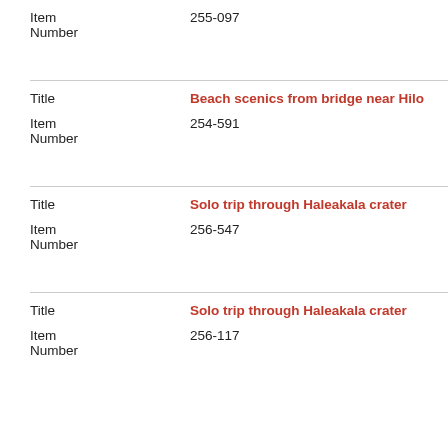| Field | Value |
| --- | --- |
| Item Number | 255-097 |
| Title | Beach scenics from bridge near Hilo |
| Item Number | 254-591 |
| Title | Solo trip through Haleakala crater |
| Item Number | 256-547 |
| Title | Solo trip through Haleakala crater |
| Item Number | 256-117 |